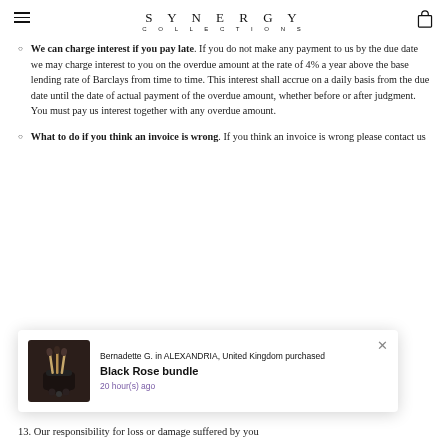SYNERGY COLLECTIONS
We can charge interest if you pay late. If you do not make any payment to us by the due date we may charge interest to you on the overdue amount at the rate of 4% a year above the base lending rate of Barclays from time to time. This interest shall accrue on a daily basis from the due date until the date of actual payment of the overdue amount, whether before or after judgment. You must pay us interest together with any overdue amount.
What to do if you think an invoice is wrong. If you think an invoice is wrong please contact us
[Figure (other): Popup notification showing a product purchase: Bernadette G. in ALEXANDRIA, United Kingdom purchased Black Rose bundle, 20 hour(s) ago]
13. Our responsibility for loss or damage suffered by you